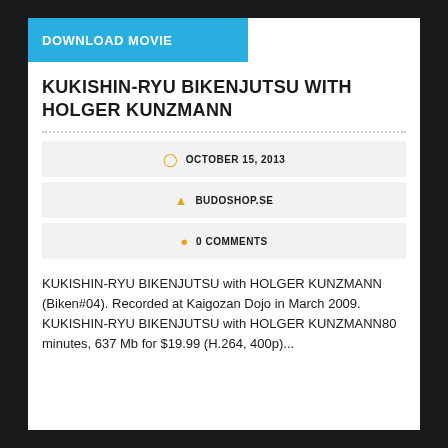DOWNLOAD MOVIE
KUKISHIN-RYU BIKENJUTSU WITH HOLGER KUNZMANN
OCTOBER 15, 2013
BUDOSHOP.SE
0 COMMENTS
KUKISHIN-RYU BIKENJUTSU with HOLGER KUNZMANN (Biken#04). Recorded at Kaigozan Dojo in March 2009. KUKISHIN-RYU BIKENJUTSU with HOLGER KUNZMANN80 minutes, 637 Mb for $19.99 (H.264, 400p)...